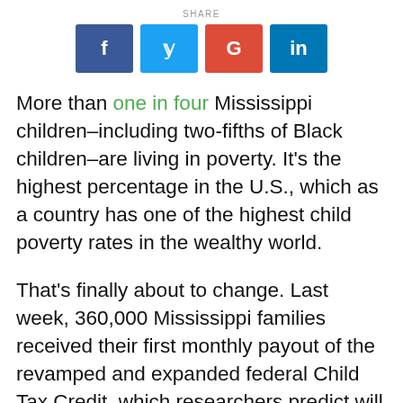SHARE
[Figure (other): Social share buttons: Facebook (blue), Twitter (light blue), Google+ (red), LinkedIn (dark blue)]
More than one in four Mississippi children–including two-fifths of Black children–are living in poverty. It's the highest percentage in the U.S., which as a country has one of the highest child poverty rates in the wealthy world.
That's finally about to change. Last week, 360,000 Mississippi families received their first monthly payout of the revamped and expanded federal Child Tax Credit, which researchers predict will cut America's child poverty rate in half.